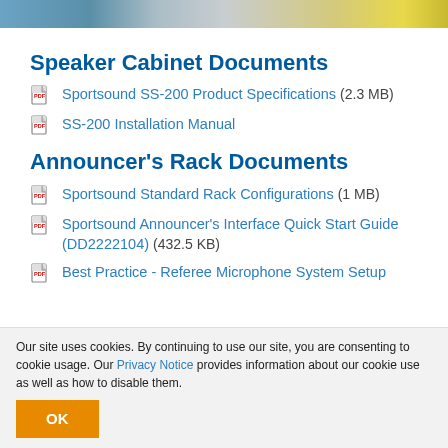[Figure (photo): Top banner image showing audio/speaker equipment and stadium scene with blue and yellow tones]
Speaker Cabinet Documents
Sportsound SS-200 Product Specifications (2.3 MB)
SS-200 Installation Manual
Announcer's Rack Documents
Sportsound Standard Rack Configurations (1 MB)
Sportsound Announcer's Interface Quick Start Guide (DD2222104) (432.5 KB)
Best Practice - Referee Microphone System Setup
Our site uses cookies. By continuing to use our site, you are consenting to cookie usage. Our Privacy Notice provides information about our cookie use as well as how to disable them.